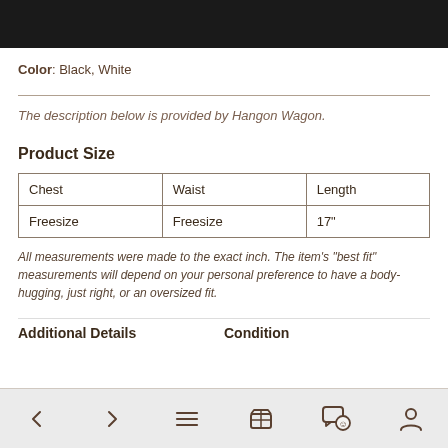Color: Black, White
The description below is provided by Hangon Wagon.
Product Size
| Chest | Waist | Length |
| --- | --- | --- |
| Freesize | Freesize | 17" |
All measurements were made to the exact inch. The item's "best fit" measurements will depend on your personal preference to have a body-hugging, just right, or an oversized fit.
Additional Details
Condition